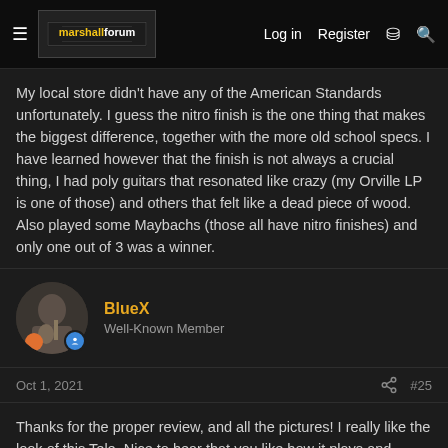marshallforum — Log in  Register
My local store didn't have any of the American Standards unfortunately. I guess the nitro finish is the one thing that makes the biggest difference, together with the more old school specs. I have learned however that the finish is not always a crucial thing, I had poly guitars that resonated like crazy (my Orville LP is one of those) and others that felt like a dead piece of wood. Also played some Maybachs (those all have nitro finishes) and only one out of 3 was a winner.
BlueX
Well-Known Member
Oct 1, 2021  #25
Thanks for the proper review, and all the pictures! I really like the look of this Tele. Nice to hear that you like how it plays and sounds.